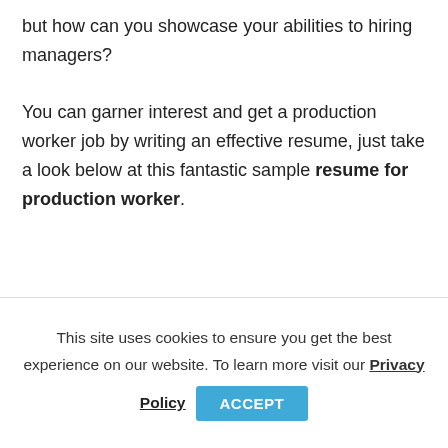but how can you showcase your abilities to hiring managers?

You can garner interest and get a production worker job by writing an effective resume, just take a look below at this fantastic sample resume for production worker.
In this article, we'll be guiding you through
This site uses cookies to ensure you get the best experience on our website. To learn more visit our Privacy Policy
ACCEPT